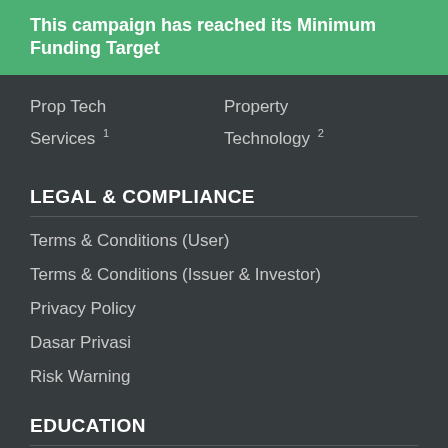This campaign has reached its Minimum Funding Target
Prop Tech    Property
Services 1    Technology 2
LEGAL & COMPLIANCE
Terms & Conditions (User)
Terms & Conditions (Issuer & Investor)
Privacy Policy
Dasar Privasi
Risk Warning
EDUCATION
FAQs & Help Guides